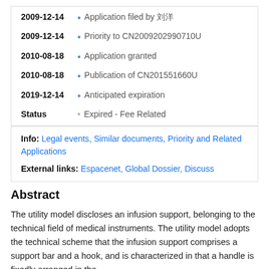2009-12-14 • Application filed by 刘洋
2009-12-14 • Priority to CN2009202990710U
2010-08-18 • Application granted
2010-08-18 • Publication of CN201551660U
2019-12-14 • Anticipated expiration
Status • Expired - Fee Related
Info: Legal events, Similar documents, Priority and Related Applications
External links: Espacenet, Global Dossier, Discuss
Abstract
The utility model discloses an infusion support, belonging to the technical field of medical instruments. The utility model adopts the technical scheme that the infusion support comprises a support bar and a hook, and is characterized in that a handle is fixedly arranged in the